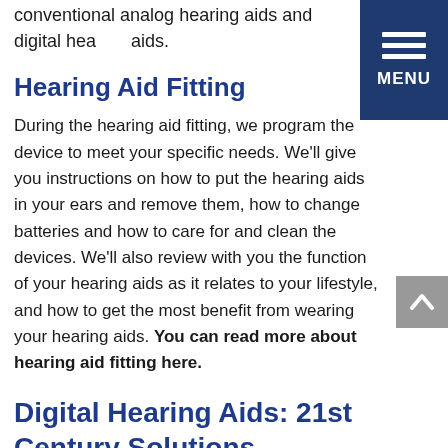conventional analog hearing aids and digital hearing aids.
[Figure (other): Dark blue menu button with three white horizontal bars and MENU label]
Hearing Aid Fitting
During the hearing aid fitting, we program the device to meet your specific needs. We’ll give you instructions on how to put the hearing aids in your ears and remove them, how to change batteries and how to care for and clean the devices. We’ll also review with you the function of your hearing aids as it relates to your lifestyle, and how to get the most benefit from wearing your hearing aids. You can read more about hearing aid fitting here.
[Figure (other): Gray scroll-up button with white up chevron arrow]
Digital Hearing Aids: 21st Century Solutions